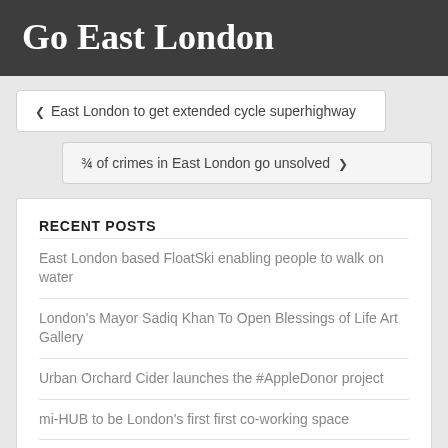Go East London
❮ East London to get extended cycle superhighway
¾ of crimes in East London go unsolved ❯
RECENT POSTS
East London based FloatSki enabling people to walk on water
London's Mayor Sadiq Khan To Open Blessings of Life Art Gallery
Urban Orchard Cider launches the #AppleDonor project
mi-HUB to be London's first first co-working space